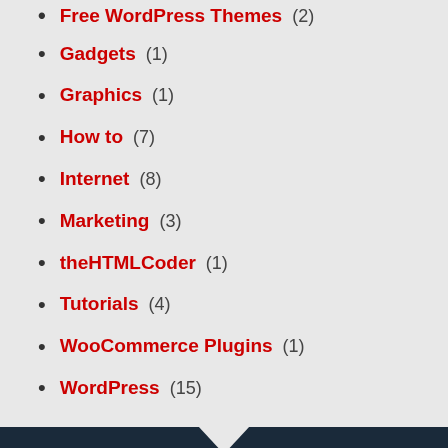Free WordPress Themes (2)
Gadgets (1)
Graphics (1)
How to (7)
Internet (8)
Marketing (3)
theHTMLCoder (1)
Tutorials (4)
WooCommerce Plugins (1)
WordPress (15)
Let our code do the miracles for your website